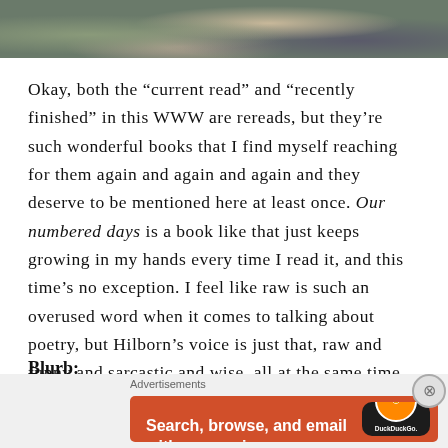[Figure (photo): Partial photo showing outdoor scene with clothing/fabric at top of page]
Okay, both the “current read” and “recently finished” in this WWW are rereads, but they’re such wonderful books that I find myself reaching for them again and again and again and they deserve to be mentioned here at least once. Our numbered days is a book like that just keeps growing in my hands every time I read it, and this time’s no exception. I feel like raw is such an overused word when it comes to talking about poetry, but Hilborn’s voice is just that, raw and funny and sarcastic and wise, all at the same time.
Blurb:
[Figure (screenshot): DuckDuckGo advertisement banner: 'Search, browse, and email with more privacy. All in One Free App' with phone graphic and DuckDuckGo logo on orange background]